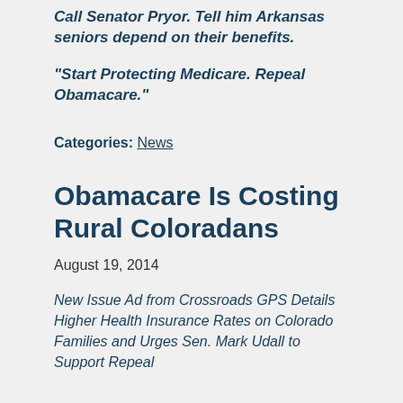Call Senator Pryor. Tell him Arkansas seniors depend on their benefits.
“Start Protecting Medicare. Repeal Obamacare.”
Categories: News
Obamacare Is Costing Rural Coloradans
August 19, 2014
New Issue Ad from Crossroads GPS Details Higher Health Insurance Rates on Colorado Families and Urges Sen. Mark Udall to Support Repeal